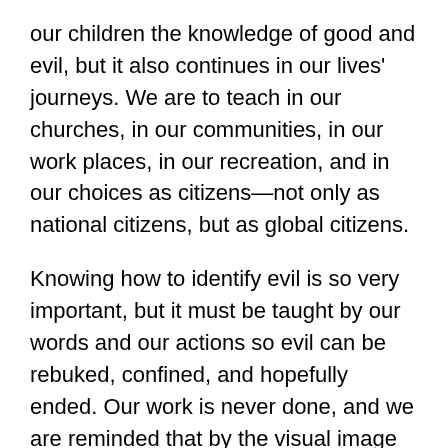our children the knowledge of good and evil, but it also continues in our lives' journeys. We are to teach in our churches, in our communities, in our work places, in our recreation, and in our choices as citizens—not only as national citizens, but as global citizens.
Knowing how to identify evil is so very important, but it must be taught by our words and our actions so evil can be rebuked, confined, and hopefully ended. Our work is never done, and we are reminded that by the visual image of the TREE OF KNOWLEDGE in the stained glass window. We are reminded that in the books of the Bible. We are reminded that when we are in Christian fellowship with each other.
Today, we can see the damage that evil causes in the image of the withering, dying TREE OF KNOWLEDGE of